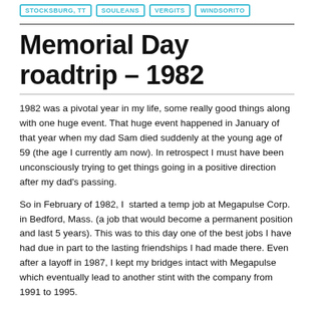STOCKSBURG, TT | SOULEANS | VERGITS | WINDSORITO
Memorial Day roadtrip – 1982
1982 was a pivotal year in my life, some really good things along with one huge event. That huge event happened in January of that year when my dad Sam died suddenly at the young age of 59 (the age I currently am now). In retrospect I must have been unconsciously trying to get things going in a positive direction after my dad's passing.
So in February of 1982, I  started a temp job at Megapulse Corp. in Bedford, Mass. (a job that would become a permanent position and last 5 years). This was to this day one of the best jobs I have had due in part to the lasting friendships I had made there. Even after a layoff in 1987, I kept my bridges intact with Megapulse which eventually lead to another stint with the company from 1991 to 1995.